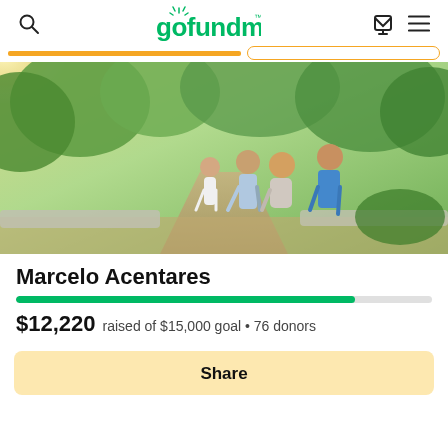gofundme
[Figure (photo): Family of four posing outdoors in a garden/park setting with lush green trees. A man in a light blue shirt, a woman in a floral dress, a young girl in white dress, and a teenage boy in blue polo shirt.]
Marcelo Acentares
$12,220 raised of $15,000 goal • 76 donors
Share